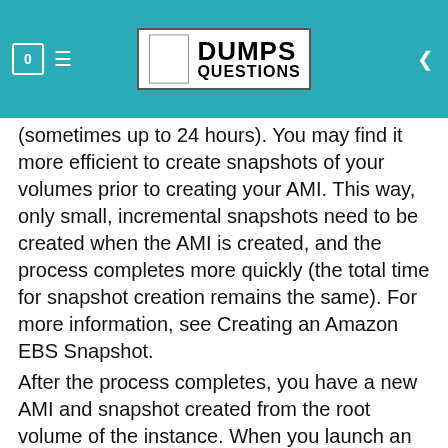DUMPS QUESTIONS
(sometimes up to 24 hours). You may find it more efficient to create snapshots of your volumes prior to creating your AMI. This way, only small, incremental snapshots need to be created when the AMI is created, and the process completes more quickly (the total time for snapshot creation remains the same). For more information, see Creating an Amazon EBS Snapshot.
After the process completes, you have a new AMI and snapshot created from the root volume of the instance. When you launch an instance using the new AMI, we create a new EBS volume for its root volume using the snapshot. Both the AMI and the snapshot incur charges to your account until you delete them. For more information, see Deregistering Your AMI.
If you add instance-store volumes or EBS volumes to your instance in addition to the root device volume, the block device mapping for the new AMI contains information for